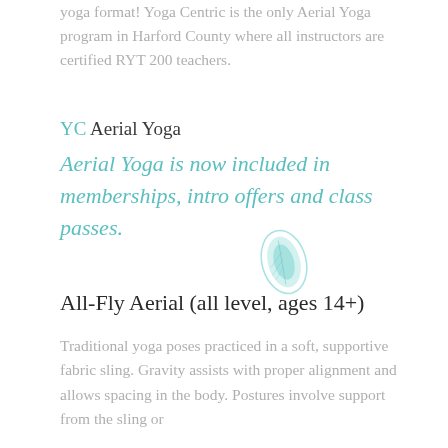yoga format! Yoga Centric is the only Aerial Yoga program in Harford County where all instructors are certified RYT 200 teachers.
YC Aerial Yoga
Aerial Yoga is now included in memberships, intro offers and class passes.
[Figure (illustration): A small teal leaf/lotus icon]
All-Fly Aerial (all level, ages 14+)
Traditional yoga poses practiced in a soft, supportive fabric sling. Gravity assists with proper alignment and allows spacing in the body. Postures involve support from the sling or